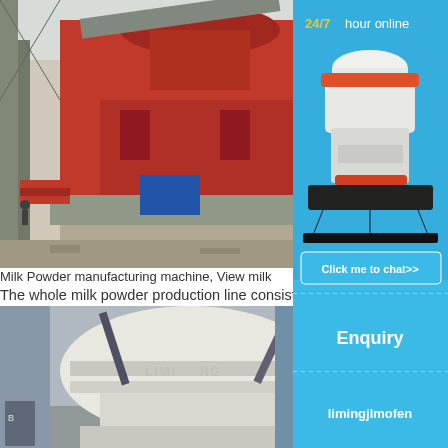[Figure (photo): Industrial milk powder manufacturing machine on scaffolding structure, red metal framework, outdoor construction site]
Milk Powder manufacturing machine, View milk
The whole milk powder production line consists of the following units: 1. Milk Reception or Powder Dissolving 2. Mixing and Sugar Melting tanks 3. Pasteurisation Homogeniser 4. Milk Storage or Yogurt Pro Falling film Evaporator 6. Spray dryer 7. Fil machine 8. CIP Cleaning System 9.
Read More
[Figure (photo): LIMING brand industrial grinding/milling machine, white/cream colored large equipment]
[Figure (photo): Sidebar advertisement showing cone crusher machine with 24/7 hour online chat support, Click me to chat>>, Enquiry section, limingjlmofen branding on blue background]